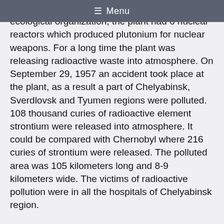≡ Menu
located in Ozersk. According to Belluna ecological organization, the plant had 6 nuclear reactors which produced plutonium for nuclear weapons. For a long time the plant was releasing radioactive waste into atmosphere. On September 29, 1957 an accident took place at the plant, as a result a part of Chelyabinsk, Sverdlovsk and Tyumen regions were polluted.  108 thousand curies of radioactive element strontium were released into atmosphere. It could be compared with Chernobyl where 216 curies of strontium were released. The polluted area was 105 kilometers long and 8-9 kilometers wide. The victims of radioactive pollution were in all the hospitals of Chelyabinsk region.
Academician Yury Zakharov disregards that version that the creature"s deviations were caused by radiation, "Indeed, the environment is polluted in the Southern Urals. There have been some mutations of animals and plants in the region, but